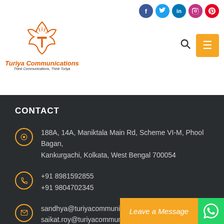[Figure (logo): Turiya Communications logo with orange lotus/sun emblem and text 'Turiya Communications, Think Communications, Think Turiya']
CONTACT
188A, 14A, Maniktala Main Rd, Scheme VI-M, Phool Bagan, Kankurgachi, Kolkata, West Bengal 700054
+91 8981592855
+91 9804702345
sandhya@turiyacommunications.com
saikat.roy@turiyacommunications.com
SOCIAL MEDIA
Leave a Message